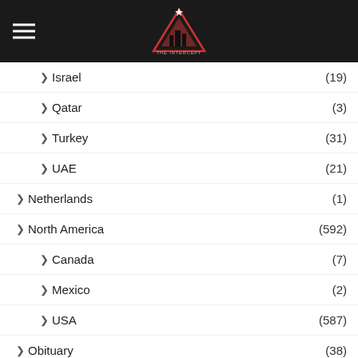The Intercept navigation header with logo
Israel (19)
Qatar (3)
Turkey (31)
UAE (21)
Netherlands (1)
North America (592)
Canada (7)
Mexico (2)
USA (587)
Obituary (38)
Opinion/Editorials (1...)
Pacific (3)
Australia (3)